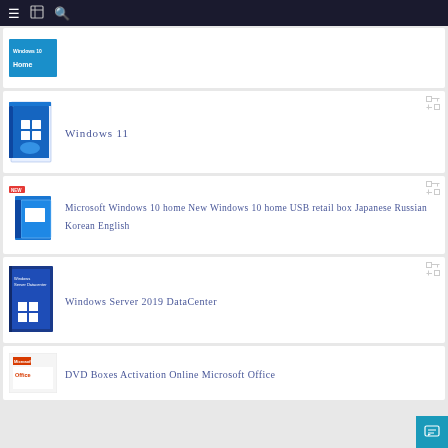Navigation bar with menu, document, and search icons
[Figure (screenshot): Windows 10 Home product box in blue]
[Figure (screenshot): Windows 11 Pro product box in blue]
Windows 11
[Figure (screenshot): Microsoft Windows 10 home USB retail box]
Microsoft Windows 10 home New Windows 10 home USB retail box Japanese Russian Korean English
[Figure (screenshot): Windows Server 2019 DataCenter product box]
Windows Server 2019 DataCenter
[Figure (screenshot): Microsoft Office DVD box]
DVD Boxes Activation Online Microsoft Office